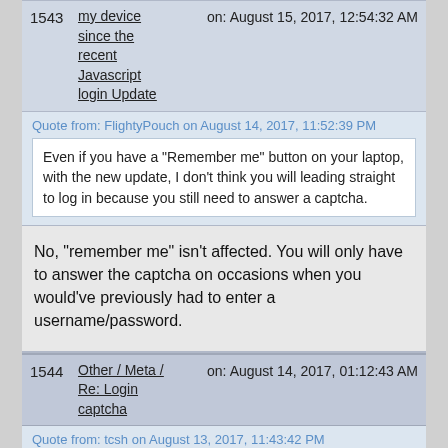1543 | my device since the recent Javascript login Update | on: August 15, 2017, 12:54:32 AM
Quote from: FlightyPouch on August 14, 2017, 11:52:39 PM
Even if you have a "Remember me" button on your laptop, with the new update, I don't think you will leading straight to log in because you still need to answer a captcha.
No, "remember me" isn't affected. You will only have to answer the captcha on occasions when you would've previously had to enter a username/password.
1544 | Other / Meta / Re: Login captcha | on: August 14, 2017, 01:12:43 AM
Quote from: tcsh on August 13, 2017, 11:43:42 PM
Anyway, there's a potential bug, or rather.. an oversight.
Fixed, thanks!
Quote from: gelius on August 14, 2017, 01:05:10 AM
Please do not use google captcha.
Use alternative.